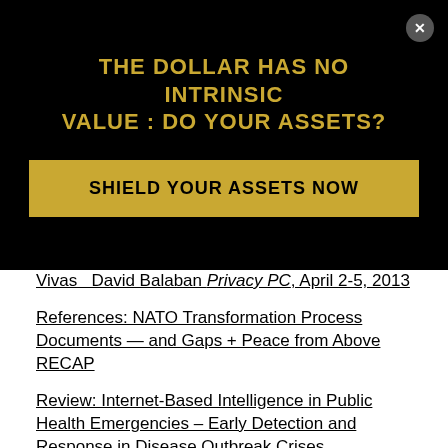[Figure (other): Black advertisement banner overlay with gold text title 'THE DOLLAR HAS NO INTRINSIC VALUE : DO YOUR ASSETS?' and a gold 'SHIELD YOUR ASSETS NOW' button, with a close (X) button in top right corner.]
Vivas   David Balaban Privacy PC, April 2-5, 2013
References: NATO Transformation Process Documents — and Gaps + Peace from Above RECAP
Review: Internet-Based Intelligence in Public Health Emergencies – Early Detection and Response in Disease Outbreak Crises
Review: No More Secrets – Open Source Information and the Reshaping of U.S. Intelligence
Review: Open Source Intelligence in a Networked World
Robert Steele Discusses Open Source and Secret Intelligence HighGainBlog, 4 April 2013